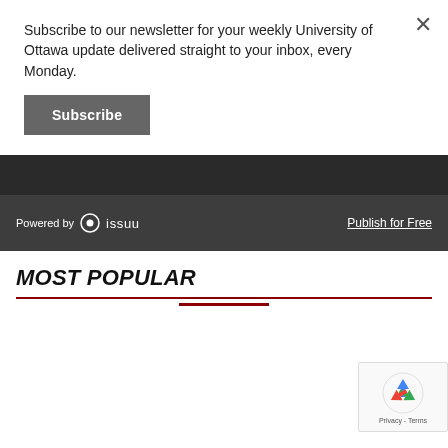Subscribe to our newsletter for your weekly University of Ottawa update delivered straight to your inbox, every Monday.
Subscribe
[Figure (screenshot): Issuu embedded viewer bar showing 'Powered by issuu' on the left and 'Publish for Free' link on the right, dark grey background]
MOST POPULAR
[Figure (other): reCAPTCHA badge with Google reCAPTCHA logo and 'Privacy - Terms' text]